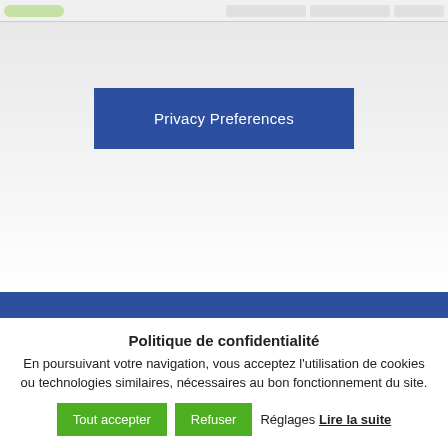[Figure (screenshot): Top navigation bar strip of a website with green pill logo area and grey nav boxes]
Privacy Preferences
[Figure (other): Blue horizontal band/footer bar]
Politique de confidentialité
En poursuivant votre navigation, vous acceptez l'utilisation de cookies ou technologies similaires, nécessaires au bon fonctionnement du site.
Tout accepter   Refuser   Réglages Lire la suite